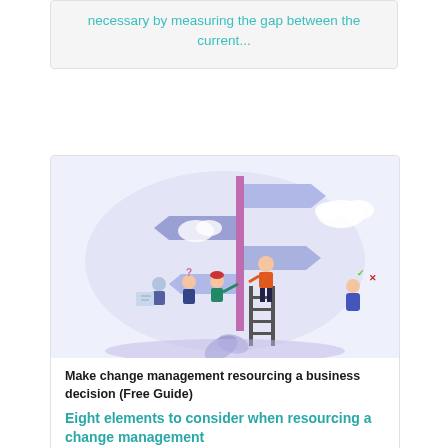necessary by measuring the gap between the current...
[Figure (illustration): Illustration of people at a signpost with multiple directional arrows, a person on a ladder looking ahead, people with a map and question marks, and a person with checkmark and X, representing decision-making and change management.]
Make change management resourcing a business decision (Free Guide)
Eight elements to consider when resourcing a change management